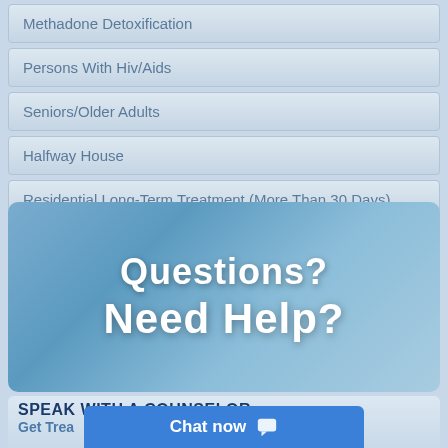Methadone Detoxification
Persons With Hiv/Aids
Seniors/Older Adults
Halfway House
Residential Long-Term Treatment (More Than 30 Days)
[Figure (infographic): Blue gradient banner with white bold text reading 'Questions? Need Help?']
[Figure (infographic): Bottom banner with dark blue bold text 'SPEAK WITH A COUNSELOR.' and blue text 'Get Trea...' partially visible, with a blue 'Chat now' button at bottom right]